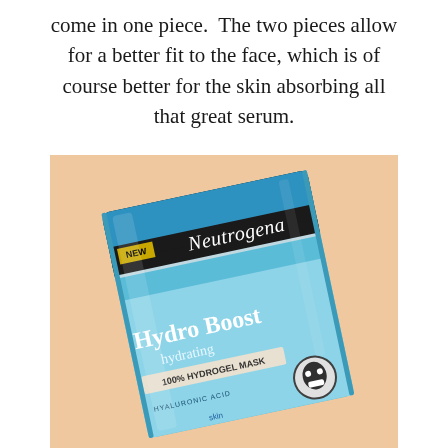come in one piece. The two pieces allow for a better fit to the face, which is of course better for the skin absorbing all that great serum.
[Figure (photo): A Neutrogena Hydro Boost Hydrating 100% Hydrogel Mask product package (two-piece face mask) shown on a beige/peach background. The package is blue with a black band showing the Neutrogena logo and 'NEW' label. Text on the package reads: Hydro Boost, hydrating, 100% HYDROGEL MASK, HYALURONIC ACID.]